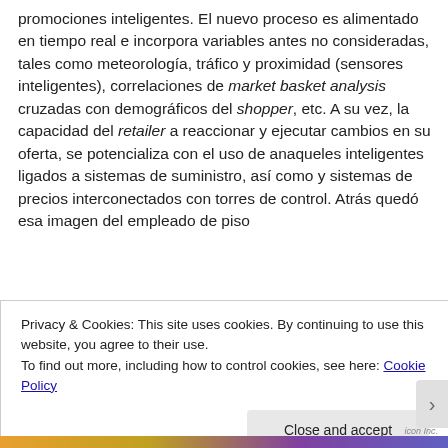promociones inteligentes. El nuevo proceso es alimentado en tiempo real e incorpora variables antes no consideradas, tales como meteorología, tráfico y proximidad (sensores inteligentes), correlaciones de market basket analysis cruzadas con demográficos del shopper, etc. A su vez, la capacidad del retailer a reaccionar y ejecutar cambios en su oferta, se potencializa con el uso de anaqueles inteligentes ligados a sistemas de suministro, así como y sistemas de precios interconectados con torres de control. Atrás quedó esa imagen del empleado de piso
Privacy & Cookies: This site uses cookies. By continuing to use this website, you agree to their use.
To find out more, including how to control cookies, see here: Cookie Policy
Close and accept